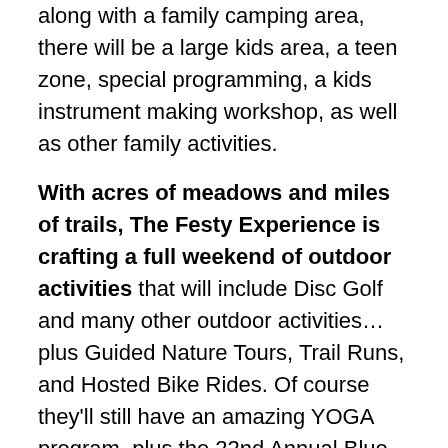along with a family camping area, there will be a large kids area, a teen zone, special programming, a kids instrument making workshop, as well as other family activities.
With acres of meadows and miles of trails, The Festy Experience is crafting a full weekend of outdoor activities that will include Disc Golf and many other outdoor activities… plus Guided Nature Tours, Trail Runs, and Hosted Bike Rides. Of course they'll still have an amazing YOGA program, plus the 22nd Annual Blue Ridge Burn (5k/10k)! Stay tuned for more information on activities, workshops, and special accommodations.
This will be The Festy Experience's second year at Infinity Downs Farm, a 387-acre property in Arrington, VA, located in the Nelson County Preserve at the foothills of the Blue Ridge Mountains in Central Virginia adjacent to